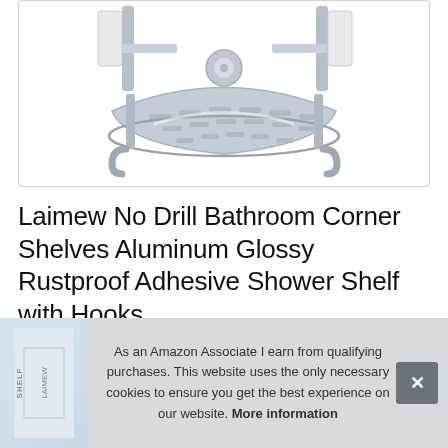[Figure (photo): Chrome/aluminum corner bathroom shelf with hooks, viewed from above at angle, showing slotted shelf surface and mounting brackets]
Laimew No Drill Bathroom Corner Shelves Aluminum Glossy Rustproof Adhesive Shower Shelf with Hooks
As an Amazon Associate I earn from qualifying purchases. This website uses the only necessary cookies to ensure you get the best experience on our website. More information